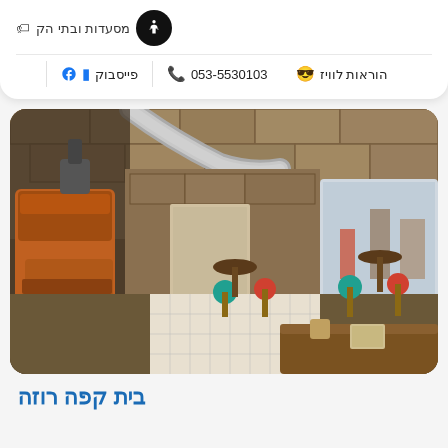מסעדות ובתי הק
פייסבוק | 053-5530103 | הוראות לוויז
[Figure (photo): Interior of a rustic café with stone walls, coffee roasting machine, high wooden stools and tables, large windows looking out to a street.]
בית קפה רוזה